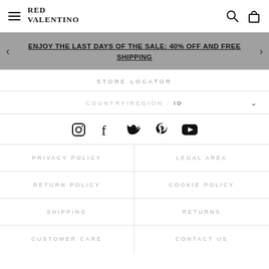RED VALENTINO – navigation header with menu, logo, search, and bag icons
ENJOY THE LAST DAYS OF THE SALE: 40% OFF AND FREE SHIPPING
STORE LOCATOR
COUNTRY/REGION: ID
[Figure (infographic): Social media icons: Instagram, Facebook, Twitter, Pinterest, YouTube]
PRIVACY POLICY
LEGAL AREA
RETURN POLICY
COOKIE POLICY
SHIPPING
RETURNS
CUSTOMER CARE
CONTACT US